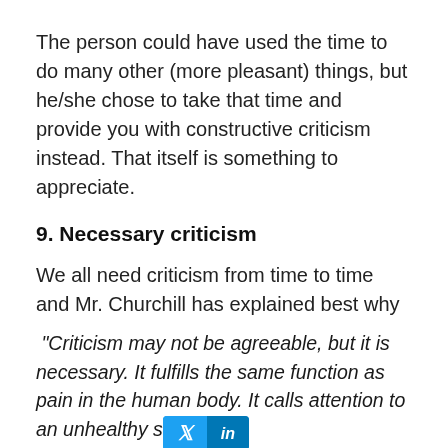The person could have used the time to do many other (more pleasant) things, but he/she chose to take that time and provide you with constructive criticism instead. That itself is something to appreciate.
9. Necessary criticism
We all need criticism from time to time and Mr. Churchill has explained best why
“Criticism may not be agreeable, but it is necessary. It fulfills the same function as pain in the human body. It calls attention to an unhealthy s[social share buttons] things.” — Winston Churchill